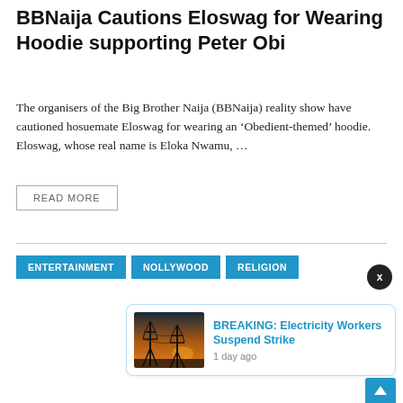BBNaija Cautions Eloswag for Wearing Hoodie supporting Peter Obi
The organisers of the Big Brother Naija (BBNaija) reality show have cautioned hosuemate Eloswag for wearing an ‘Obedient-themed’ hoodie. Eloswag, whose real name is Eloka Nwamu, …
READ MORE
ENTERTAINMENT
NOLLYWOOD
RELIGION
[Figure (photo): Image of electricity pylons/transmission towers at sunset, used as thumbnail for breaking news notification]
BREAKING: Electricity Workers Suspend Strike
1 day ago